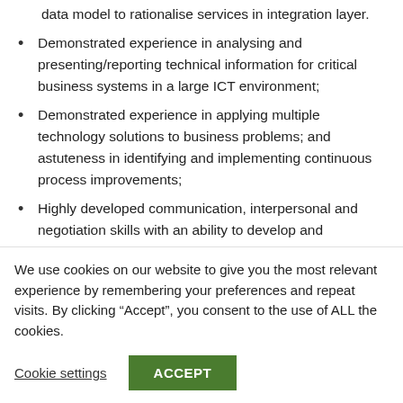data model to rationalise services in integration layer.
Demonstrated experience in analysing and presenting/reporting technical information for critical business systems in a large ICT environment;
Demonstrated experience in applying multiple technology solutions to business problems; and astuteness in identifying and implementing continuous process improvements;
Highly developed communication, interpersonal and negotiation skills with an ability to develop and
We use cookies on our website to give you the most relevant experience by remembering your preferences and repeat visits. By clicking “Accept”, you consent to the use of ALL the cookies.
Cookie settings | ACCEPT